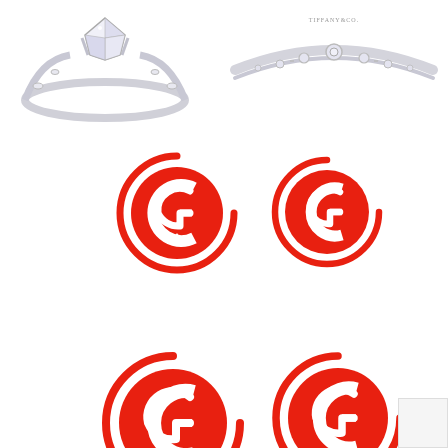[Figure (photo): Diamond solitaire engagement ring with decorated band, silver/white gold, photographed from above on white background]
[Figure (photo): Thin diamond eternity band / wedding ring, silver, with small diamonds and filigree detail, photographed from above on white background with Tiffany & Co. text engraved]
[Figure (logo): Round red CG monogram logo (C and G letters interlinked) with circular border, larger size]
[Figure (logo): Round red CG monogram logo (C and G letters interlinked) with circular border, slightly smaller size]
[Figure (logo): Round red CG monogram logo (C and G letters interlinked) with circular border, partially cropped at bottom, lower-left]
[Figure (logo): Round red CG monogram logo (C and G letters interlinked) with circular border, partially cropped at bottom, lower-right]